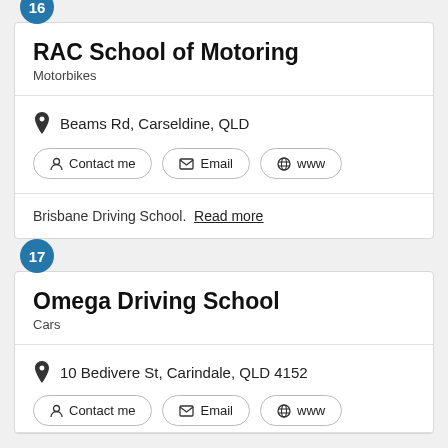RAC School of Motoring
Motorbikes
Beams Rd, Carseldine, QLD
Contact me   Email   www
Brisbane Driving School.  Read more
Omega Driving School
Cars
10 Bedivere St, Carindale, QLD 4152
Contact me   Email   www